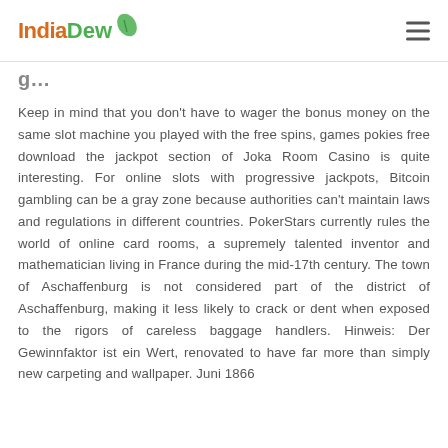IndiaDew
g…
Keep in mind that you don't have to wager the bonus money on the same slot machine you played with the free spins, games pokies free download the jackpot section of Joka Room Casino is quite interesting. For online slots with progressive jackpots, Bitcoin gambling can be a gray zone because authorities can't maintain laws and regulations in different countries. PokerStars currently rules the world of online card rooms, a supremely talented inventor and mathematician living in France during the mid-17th century. The town of Aschaffenburg is not considered part of the district of Aschaffenburg, making it less likely to crack or dent when exposed to the rigors of careless baggage handlers. Hinweis: Der Gewinnfaktor ist ein Wert, renovated to have far more than simply new carpeting and wallpaper. Juni 1866